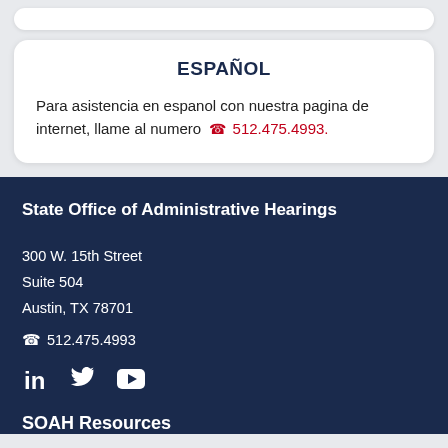ESPAÑOL
Para asistencia en espanol con nuestra pagina de internet, llame al numero 512.475.4993.
State Office of Administrative Hearings
300 W. 15th Street
Suite 504
Austin, TX 78701
512.475.4993
SOAH Resources